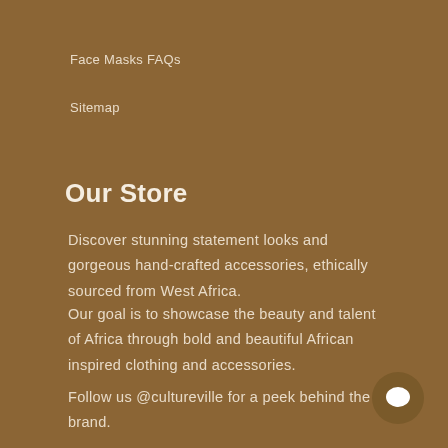Face Masks FAQs
Sitemap
Our Store
Discover stunning statement looks and gorgeous hand-crafted accessories, ethically sourced from West Africa.
Our goal is to showcase the beauty and talent of Africa through bold and beautiful African inspired clothing and accessories.
Follow us @cultureville for a peek behind the brand.